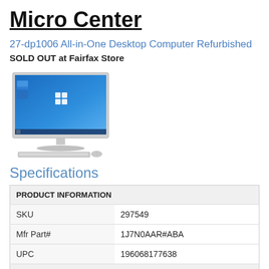Micro Center
27-dp1006 All-in-One Desktop Computer Refurbished
SOLD OUT at Fairfax Store
[Figure (photo): HP 27-dp1006 All-in-One Desktop Computer shown with Windows 10 desktop on screen, silver/white finish with keyboard and mouse]
Specifications
|  |  |
| --- | --- |
| PRODUCT INFORMATION |  |
| SKU | 297549 |
| Mfr Part# | 1J7N0AAR#ABA |
| UPC | 196068177638 |
| GENERAL INFORMATION |  |